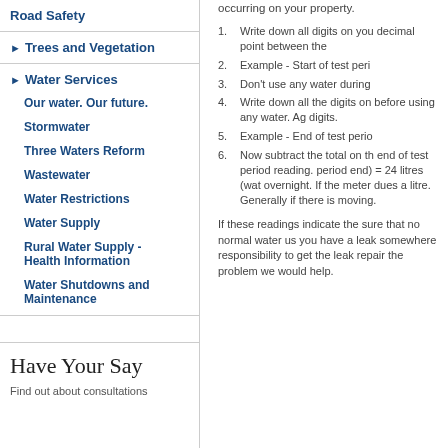Road Safety
► Trees and Vegetation
► Water Services
Our water. Our future.
Stormwater
Three Waters Reform
Wastewater
Water Restrictions
Water Supply
Rural Water Supply - Health Information
Water Shutdowns and Maintenance
Have Your Say
Find out about consultations
occurring on your property.
1. Write down all digits on you decimal point between the
2. Example - Start of test peri
3. Don't use any water during
4. Write down all the digits on before using any water. Ag digits.
5. Example - End of test perio
6. Now subtract the total on th end of test period reading. period end) = 24 litres (wat overnight. If the meter dues a litre. Generally if there is moving.
If these readings indicate the sure that no normal water us you have a leak somewhere responsibility to get the leak repair the problem we would help.